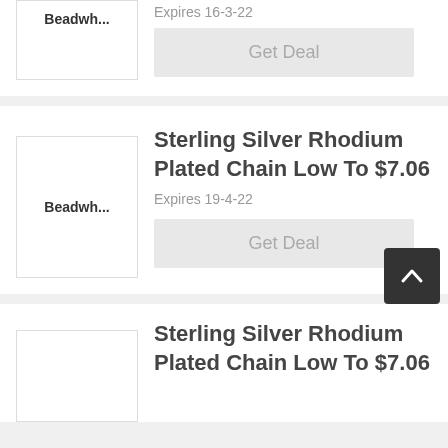[Figure (other): Partial product card showing Beadwh... logo thumbnail, Expires 16-3-22 text, and Get Deal button]
Expires 16-3-22
Get Deal
Beadwh...
Sterling Silver Rhodium Plated Chain Low To $7.06
Expires 19-4-22
Get Deal
Sterling Silver Rhodium Plated Chain Low To $7.06